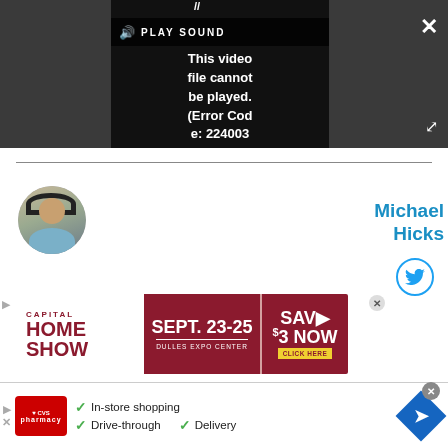[Figure (screenshot): Video player showing error: 'This video file cannot be played. (Error Code: 224003)' with PLAY SOUND button and dark background]
[Figure (photo): Circular profile photo of a person wearing VR headset and headphones]
Michael Hicks
[Figure (logo): Twitter bird logo icon in blue circle]
[Figure (infographic): Capital Home Show advertisement: SEPT. 23-25, DULLES EXPO CENTER, SAVE $3 NOW, CLICK HERE]
[Figure (infographic): CVS Pharmacy advertisement: In-store shopping, Drive-through, Delivery]